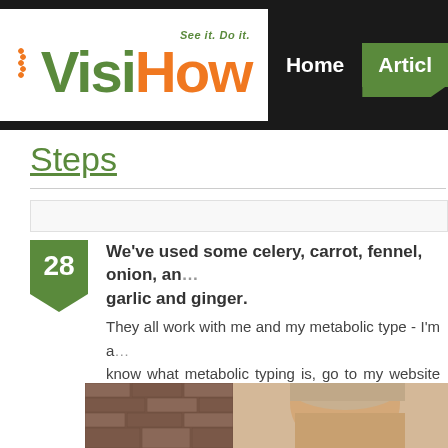VisiHow — See it. Do it. — Home | Articles
Steps
28 We've used some celery, carrot, fennel, onion, and garlic and ginger. They all work with me and my metabolic type - I'm a... know what metabolic typing is, go to my website an... best things I highly recommend you guys do.
[Figure (photo): Person looking down, with brick wall background visible]